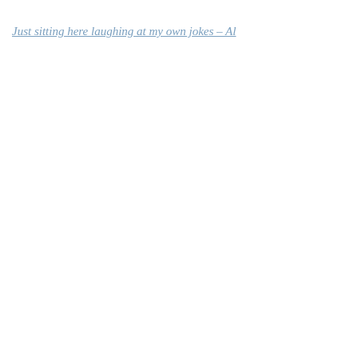Just sitting here laughing at my own jokes – Al